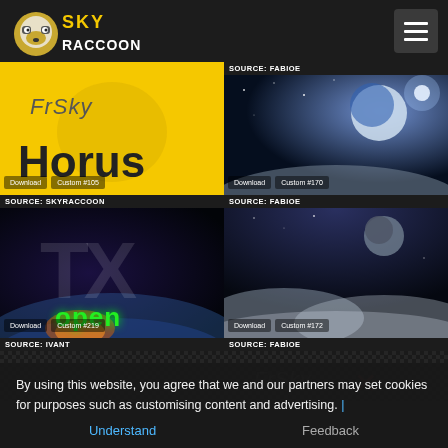[Figure (logo): Sky Raccoon logo with raccoon mascot and text SKY RACCOON]
[Figure (screenshot): FrSky Horus custom wallpaper on yellow background with Download and Custom #105 buttons. SOURCE: SKYRACCOON]
[Figure (screenshot): Space/planet wallpaper with stars. Download and Custom #170 buttons. SOURCE: FABIOE]
[Figure (screenshot): Dark space TX open wallpaper with green text 'open'. Download and Custom #219 buttons. SOURCE: IVANT]
[Figure (screenshot): Space planet and clouds wallpaper. Download and Custom #172 buttons. SOURCE: FABIOE]
[Figure (screenshot): Dark carbon fiber pattern with FrSky logo partial visible. SOURCE: (partial)]
By using this website, you agree that we and our partners may set cookies for purposes such as customising content and advertising.
Understand   Feedback